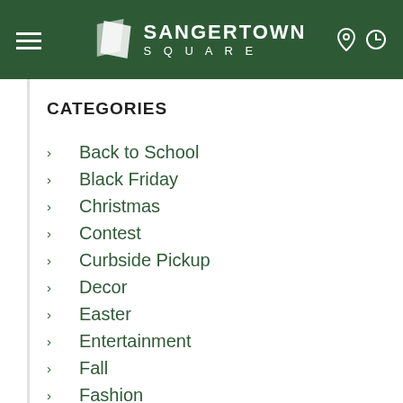Sangertown Square
CATEGORIES
Back to School
Black Friday
Christmas
Contest
Curbside Pickup
Decor
Easter
Entertainment
Fall
Fashion
Father's Day
Food
Games
Gifts
Halloween
Health